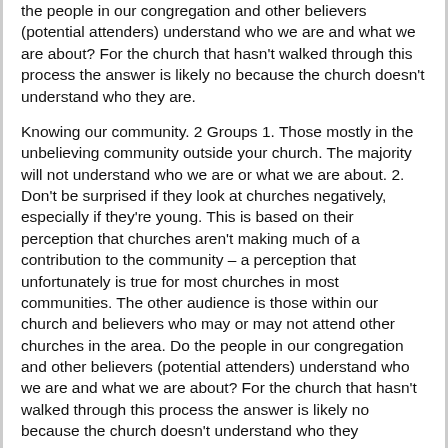the people in our congregation and other believers (potential attenders) understand who we are and what we are about? For the church that hasn't walked through this process the answer is likely no because the church doesn't understand who they are.
Knowing our community. 2 Groups 1. Those mostly in the unbelieving community outside your church. The majority will not understand who we are or what we are about. 2. Don't be surprised if they look at churches negatively, especially if they're young. This is based on their perception that churches aren't making much of a contribution to the community – a perception that unfortunately is true for most churches in most communities. The other audience is those within our church and believers who may or may not attend other churches in the area. Do the people in our congregation and other believers (potential attenders) understand who we are and what we are about? For the church that hasn't walked through this process the answer is likely no because the church doesn't understand who they are.